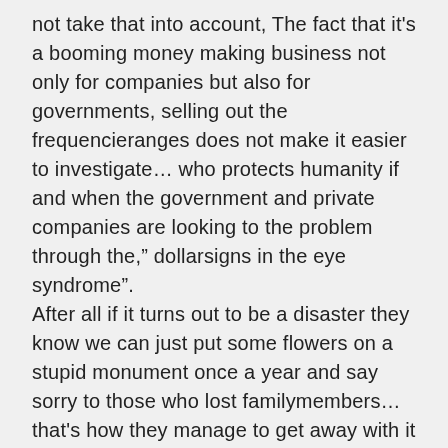not take that into account, The fact that it's a booming money making business not only for companies but also for governments, selling out the frequencieranges does not make it easier to investigate… who protects humanity if and when the government and private companies are looking to the problem through the," dollarsigns in the eye syndrome". After all if it turns out to be a disaster they know we can just put some flowers on a stupid monument once a year and say sorry to those who lost familymembers… that's how they manage to get away with it all the time.